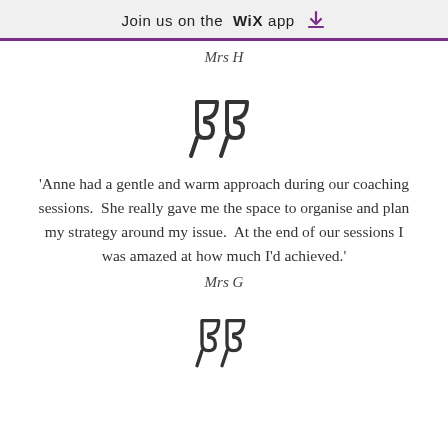Join us on the WiX app
Mrs H
[Figure (illustration): Large decorative closing double quotation marks in dark grey/black outline style]
'Anne had a gentle and warm approach during our coaching sessions.  She really gave me the space to organise and plan my strategy around my issue.  At the end of our sessions I was amazed at how much I'd achieved.'
Mrs G
[Figure (illustration): Large decorative closing double quotation marks in dark grey/black outline style]